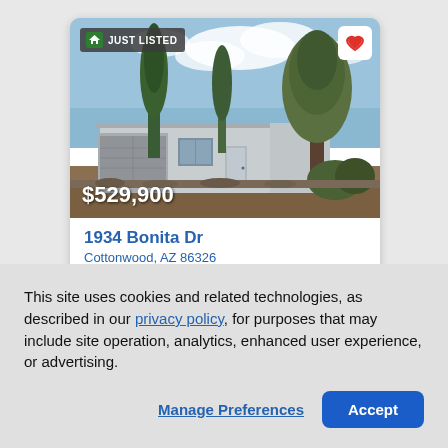[Figure (photo): Exterior photo of a single-story house with tall cypress and pine trees, blue sky with clouds. Shows garage on left side, white/gray stucco house with attached garage. 'JUST LISTED' badge top-left, heart/favorite button top-right, price $529,900 overlaid bottom-left.]
1934 Bonita Dr
Cottonwood, AZ 86326
This site uses cookies and related technologies, as described in our privacy policy, for purposes that may include site operation, analytics, enhanced user experience, or advertising.
Manage Preferences
Accept